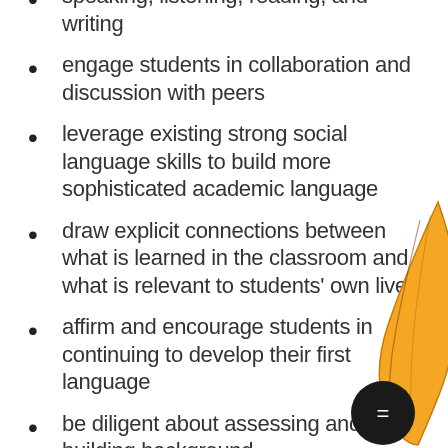speaking, listening, reading, and writing
engage students in collaboration and discussion with peers
leverage existing strong social language skills to build more sophisticated academic language
draw explicit connections between what is learned in the classroom and what is relevant to students' own lives
affirm and encourage students in continuing to develop their first language
be diligent about assessing and building background
[Figure (illustration): Orange decorative feather or leaf shape on the right side of the page, with a dark chat bubble icon overlay in the lower right area]